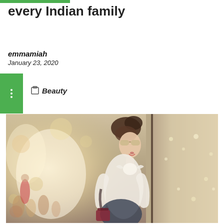every Indian family
emmamiah
January 23, 2020
Beauty
[Figure (photo): A young woman with sunglasses and hair in a bun, wearing a white bow-neck blouse and carrying a dark bag, standing in front of a shop window on a busy street]